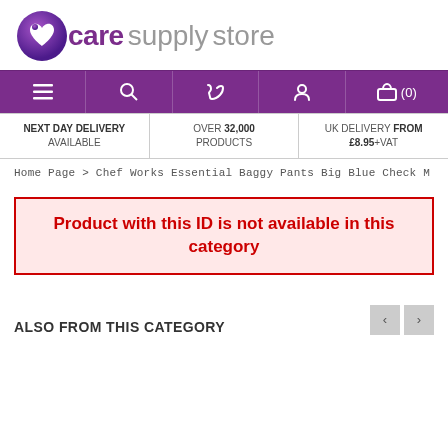[Figure (logo): Care Supply Store logo with purple circular icon and text 'care supply store']
[Figure (screenshot): Purple navigation bar with menu, search, phone, account, and basket (0) icons]
NEXT DAY DELIVERY AVAILABLE | OVER 32,000 PRODUCTS | UK DELIVERY FROM £8.95+VAT
Home Page > Chef Works Essential Baggy Pants Big Blue Check M
Product with this ID is not available in this category
ALSO FROM THIS CATEGORY